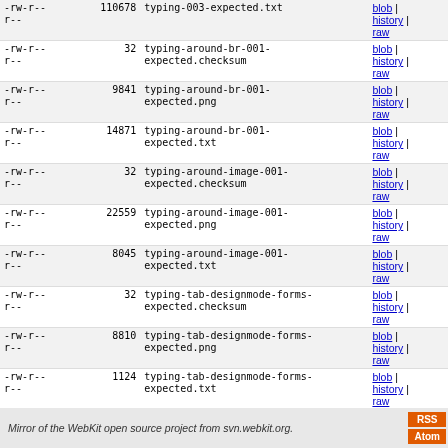| permissions | size | filename | links |
| --- | --- | --- | --- |
| -rw-r--
r-- | 110678 | typing-003-expected.txt | blob | history | raw |
| -rw-r--
r-- | 32 | typing-around-br-001-
expected.checksum | blob | history | raw |
| -rw-r--
r-- | 9841 | typing-around-br-001-
expected.png | blob | history | raw |
| -rw-r--
r-- | 14871 | typing-around-br-001-
expected.txt | blob | history | raw |
| -rw-r--
r-- | 32 | typing-around-image-001-
expected.checksum | blob | history | raw |
| -rw-r--
r-- | 22559 | typing-around-image-001-
expected.png | blob | history | raw |
| -rw-r--
r-- | 8045 | typing-around-image-001-
expected.txt | blob | history | raw |
| -rw-r--
r-- | 32 | typing-tab-designmode-forms-
expected.checksum | blob | history | raw |
| -rw-r--
r-- | 8810 | typing-tab-designmode-forms-
expected.png | blob | history | raw |
| -rw-r--
r-- | 1124 | typing-tab-designmode-forms-
expected.txt | blob | history | raw |
Mirror of the WebKit open source project from svn.webkit.org.